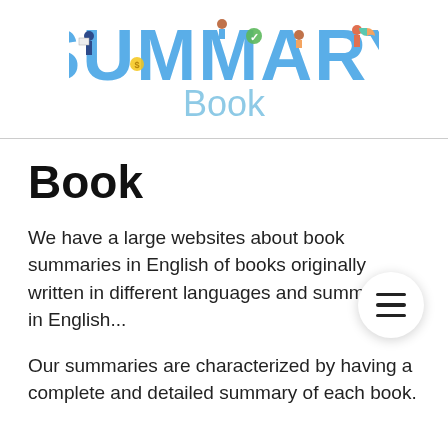[Figure (logo): SummaryBook logo with large blue SUMMARY text and illustrated figures of people around the letters, with 'Book' written below in light blue]
Book
We have a large websites about book summaries in English of books originally written in different languages and summarized in English...
Our summaries are characterized by having a complete and detailed summary of each book.